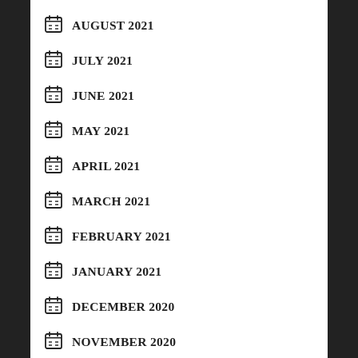AUGUST 2021
JULY 2021
JUNE 2021
MAY 2021
APRIL 2021
MARCH 2021
FEBRUARY 2021
JANUARY 2021
DECEMBER 2020
NOVEMBER 2020
OCTOBER 2020